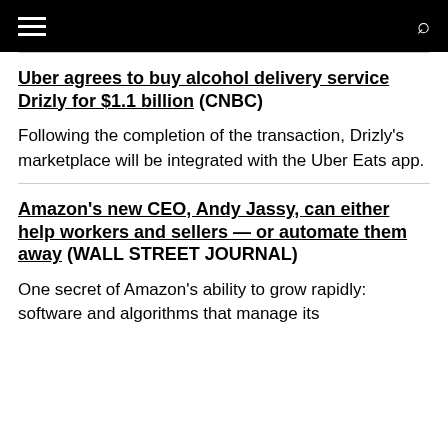≡  🔍
Uber agrees to buy alcohol delivery service Drizly for $1.1 billion (CNBC)
Following the completion of the transaction, Drizly's marketplace will be integrated with the Uber Eats app.
Amazon's new CEO, Andy Jassy, can either help workers and sellers — or automate them away (WALL STREET JOURNAL)
One secret of Amazon's ability to grow rapidly: software and algorithms that manage its